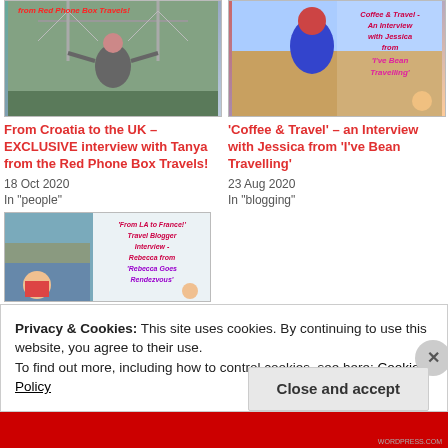[Figure (photo): Thumbnail image for Croatia/UK interview post with person outdoors]
[Figure (photo): Thumbnail image for Coffee & Travel interview with Jessica post]
From Croatia to the UK – EXCLUSIVE interview with Tanya from the Red Phone Box Travels!
18 Oct 2020
In "people"
'Coffee & Travel' – an Interview with Jessica from 'I've Bean Travelling'
23 Aug 2020
In "blogging"
[Figure (photo): Thumbnail image for From LA to France travel blogger interview with Rebecca]
Privacy & Cookies: This site uses cookies. By continuing to use this website, you agree to their use.
To find out more, including how to control cookies, see here: Cookie Policy
Close and accept